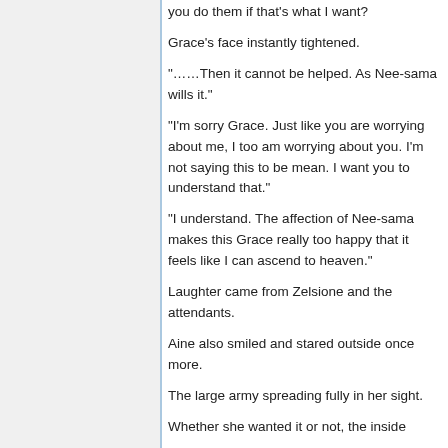you do them if that's what I want?
Grace's face instantly tightened.
"……Then it cannot be helped. As Nee-sama wills it."
"I'm sorry Grace. Just like you are worrying about me, I too am worrying about you. I'm not saying this to be mean. I want you to understand that."
"I understand. The affection of Nee-sama makes this Grace really too happy that it feels like I can ascend to heaven."
Laughter came from Zelsione and the attendants.
Aine also smiled and stared outside once more.
The large army spreading fully in her sight.
Whether she wanted it or not, the inside